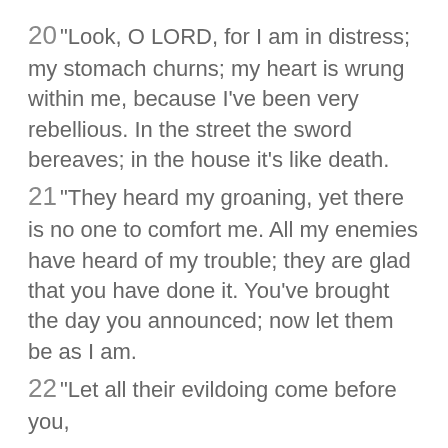20 "Look, O LORD, for I am in distress; my stomach churns; my heart is wrung within me, because I've been very rebellious. In the street the sword bereaves; in the house it's like death.
21 "They heard my groaning, yet there is no one to comfort me. All my enemies have heard of my trouble; they are glad that you have done it. You've brought the day you announced; now let them be as I am.
22 "Let all their evildoing come before you,